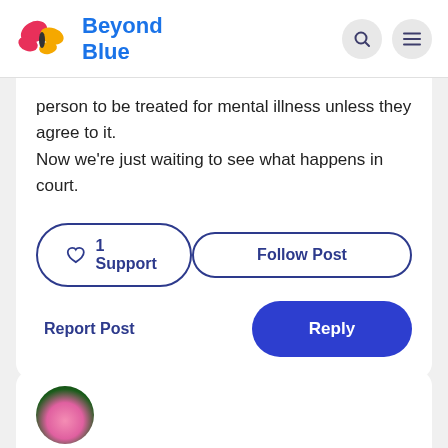[Figure (logo): Beyond Blue logo with butterfly icon in pink and yellow, and blue text]
person to be treated for mental illness unless they agree to it.
Now we're just waiting to see what happens in court.
1 Support
Follow Post
Report Post
Reply
[Figure (photo): Circular avatar showing a pink rose with green leaves]